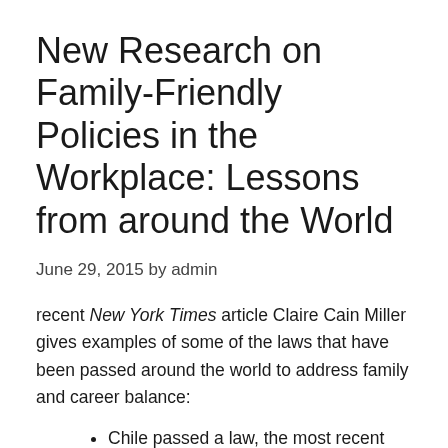New Research on Family-Friendly Policies in the Workplace: Lessons from around the World
June 29, 2015 by admin
recent New York Times article Claire Cain Miller gives examples of some of the laws that have been passed around the world to address family and career balance:
Chile passed a law, the most recent version in 2009, requiring employers to provide a place for children of...